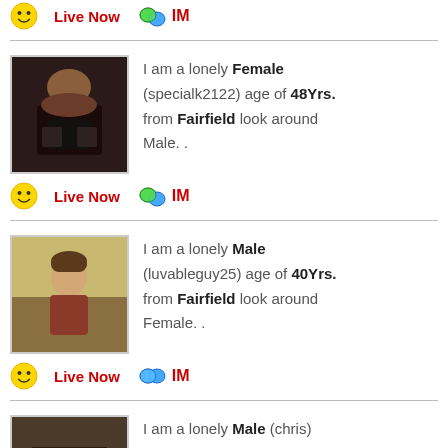Live Now  IM
I am a lonely Female (specialk2122) age of 48Yrs. from Fairfield look around Male. .
Live Now  IM
I am a lonely Male (luvableguy25) age of 40Yrs. from Fairfield look around Female. .
Live Now  IM
I am a lonely Male (chris)